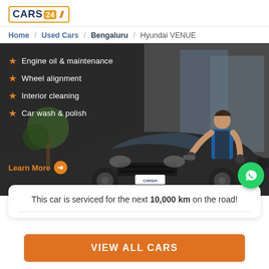[Figure (logo): CARS24 logo with orange border and orange 24 badge]
Home / Used Cars / Bengaluru / Hyundai VENUE
[Figure (photo): Banner showing car service items: Engine oil & maintenance, Wheel alignment, Interior cleaning, Car wash & polish. Learn More button. Background shows a mechanic working on a dark BMW sedan in a service center.]
This car is serviced for the next 10,000 km on the road!
VIEW ALL CARS